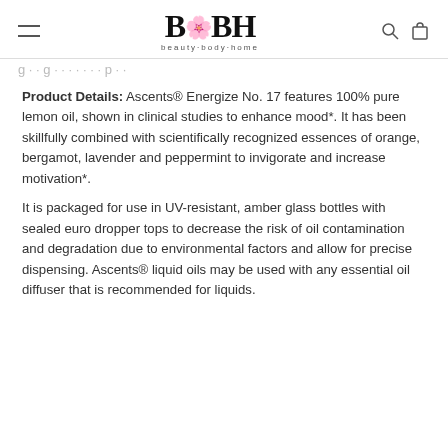BBH beauty·body·home
Product Details: Ascents® Energize No. 17 features 100% pure lemon oil, shown in clinical studies to enhance mood*. It has been skillfully combined with scientifically recognized essences of orange, bergamot, lavender and peppermint to invigorate and increase motivation*.
It is packaged for use in UV-resistant, amber glass bottles with sealed euro dropper tops to decrease the risk of oil contamination and degradation due to environmental factors and allow for precise dispensing. Ascents® liquid oils may be used with any essential oil diffuser that is recommended for liquids.